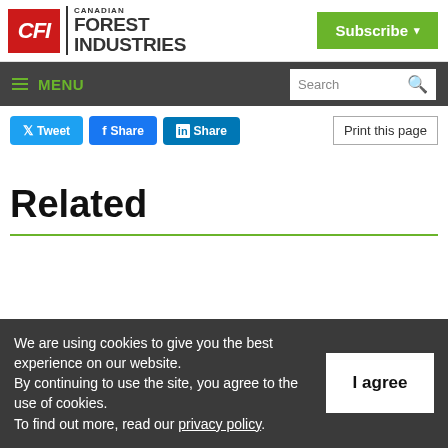[Figure (logo): Canadian Forest Industries logo with red CFI box and text]
Subscribe ▾
≡ MENU   Search
Tweet  Share  Share  Print this page
Related
We are using cookies to give you the best experience on our website.
By continuing to use the site, you agree to the use of cookies.
To find out more, read our privacy policy.